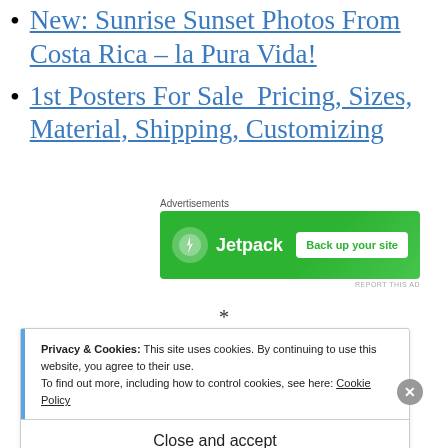New: Sunrise Sunset Photos From Costa Rica – la Pura Vida!
1st Posters For Sale  Pricing, Sizes, Material, Shipping, Customizing
[Figure (screenshot): Jetpack advertisement banner with green background, Jetpack logo and lightning bolt icon on left, 'Back up your site' white button on right. Labeled 'Advertisements' above.]
*
Privacy & Cookies: This site uses cookies. By continuing to use this website, you agree to their use.
To find out more, including how to control cookies, see here: Cookie Policy
Close and accept